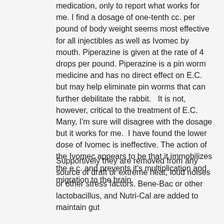medication, only to report what works for me. I find a dosage of one-tenth cc. per pound of body weight seems most effective for all injectibles as well as Ivomec by mouth. Piperazine is given at the rate of 4 drops per pound. Piperazine is a pin worm medicine and has no direct effect on E.C. but may help eliminate pin worms that can further debilitate the rabbit.   It is not, however, critical to the treatment of E.C.  Many, I'm sure will disagree with the dosage but it works for me.  I have found the lower dose of Ivomec is ineffective. The action of the Ivomec appears to be that it immobilizes the e.c. and prevents it's multiplication and migration to the brain.
Supportively they are removed from any source of draft or extreme heat, loud noises or other stress factors. Bene-Bac or other lactobacillus, and Nutri-Cal are added to maintain gut stability. Possibly some to standard the